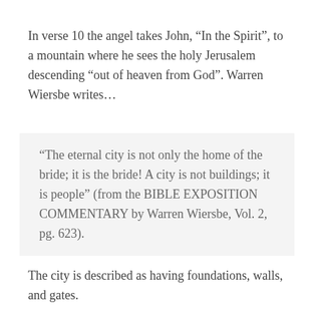In verse 10 the angel takes John, “In the Spirit”, to a mountain where he sees the holy Jerusalem descending “out of heaven from God”. Warren Wiersbe writes…
“The eternal city is not only the home of the bride; it is the bride! A city is not buildings; it is people” (from the BIBLE EXPOSITION COMMENTARY by Warren Wiersbe, Vol. 2, pg. 623).
The city is described as having foundations, walls, and gates.